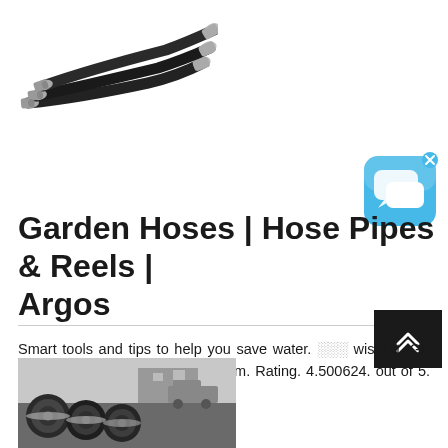[Figure (photo): Several black hydraulic hoses with silver metal fittings arranged in a fan pattern on a white background]
[Figure (illustration): Blue rounded chat/messaging app icon with speech bubble graphics and a small x close button in the top right corner]
Garden Hoses | Hose Pipes & Reels | Argos
[Figure (other): Dark scroll-to-top button with double chevron arrow pointing up]
Smart tools and tips to help you save water. wishlist. GF Compact Patio Hose Reel - 11.5m. Rating. 4.500624. out of 5. (624) £25.00. Add to trolley.
[Figure (photo): Large black industrial hoses with metal flanged ends stacked together outdoors with vehicles in background]